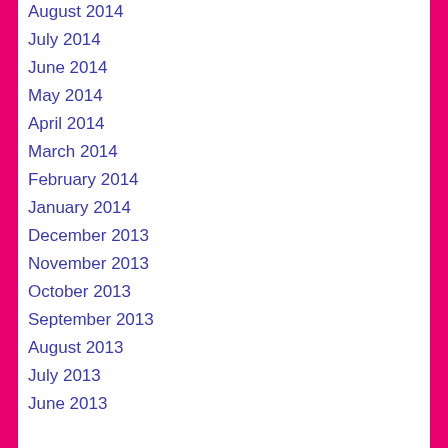August 2014
July 2014
June 2014
May 2014
April 2014
March 2014
February 2014
January 2014
December 2013
November 2013
October 2013
September 2013
August 2013
July 2013
June 2013
Categories